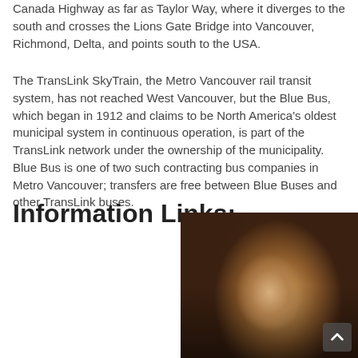Canada Highway as far as Taylor Way, where it diverges to the south and crosses the Lions Gate Bridge into Vancouver, Richmond, Delta, and points south to the USA.
The TransLink SkyTrain, the Metro Vancouver rail transit system, has not reached West Vancouver, but the Blue Bus, which began in 1912 and claims to be North America's oldest municipal system in continuous operation, is part of the TransLink network under the ownership of the municipality. Blue Bus is one of two such contracting bus companies in Metro Vancouver; transfers are free between Blue Buses and other TransLink buses.
Information Links:
[Figure (photo): Photo of a young woman with curly blonde hair, smiling, in a dark outdoor setting.]